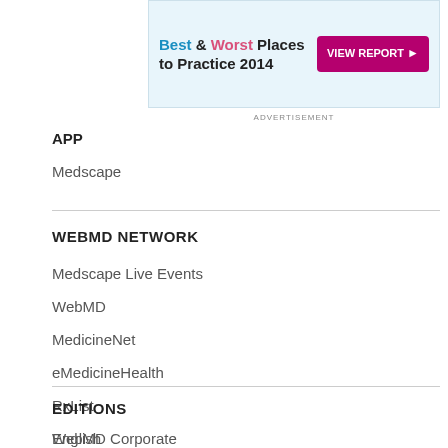[Figure (screenshot): Advertisement banner: Best & Worst Places to Practice 2014 with VIEW REPORT button]
ADVERTISEMENT
APP
Medscape
WEBMD NETWORK
Medscape Live Events
WebMD
MedicineNet
eMedicineHealth
RxList
WebMD Corporate
EDITIONS
English